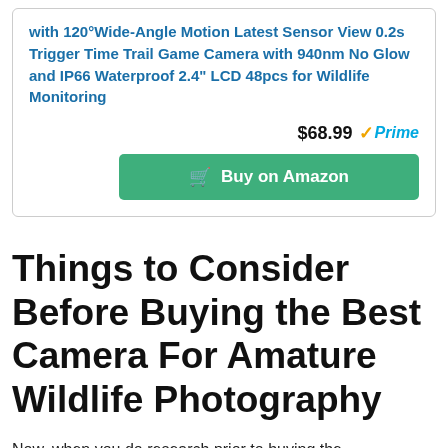with 120°Wide-Angle Motion Latest Sensor View 0.2s Trigger Time Trail Game Camera with 940nm No Glow and IP66 Waterproof 2.4" LCD 48pcs for Wildlife Monitoring
$68.99 Prime
Buy on Amazon
Things to Consider Before Buying the Best Camera For Amature Wildlife Photography
Now, when you do research prior to buying the